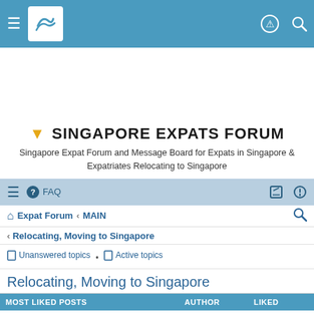Singapore Expats Forum - top navigation bar
SINGAPORE EXPATS FORUM
Singapore Expat Forum and Message Board for Expats in Singapore & Expatriates Relocating to Singapore
FAQ | navigation icons
Expat Forum › MAIN
‹ Relocating, Moving to Singapore
Unanswered topics • Active topics
Relocating, Moving to Singapore
| MOST LIKED POSTS | AUTHOR | LIKED |
| --- | --- | --- |
| My citizenship journey | smoulder | 4 times in total |
| PR Approval Probability 2022 | MOCHS | 3 times this year |
| How to prevent PR abuse | MOCHS | 2 times this month |
| New EP Point Based System 2023 onwards. Th… | malcontent | 2 times this week |